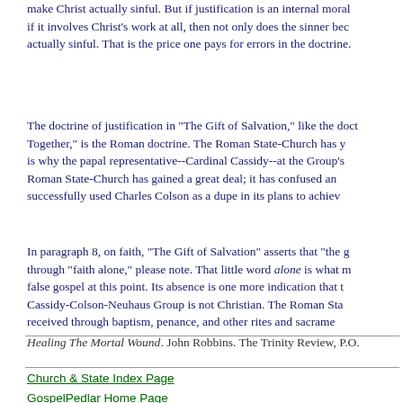make Christ actually sinful. But if justification is an internal moral transformation, and if it involves Christ's work at all, then not only does the sinner become justified, but Christ is actually sinful. That is the price one pays for errors in the doctrine of justification.
The doctrine of justification in "The Gift of Salvation," like the doctrine in "Evangelicals and Catholics Together," is the Roman doctrine. The Roman State-Church has y... is why the papal representative--Cardinal Cassidy--at the Group's... Roman State-Church has gained a great deal; it has confused an... successfully used Charles Colson as a dupe in its plans to achieve...
In paragraph 8, on faith, "The Gift of Salvation" asserts that "the g... through "faith alone," please note. That little word alone is what m... false gospel at this point. Its absence is one more indication that t... Cassidy-Colson-Neuhaus Group is not Christian. The Roman Sta... received through baptism, penance, and other rites and sacramen...
Healing The Mortal Wound. John Robbins. The Trinity Review, P.O...
Church & State Index Page
GospelPedlar Home Page